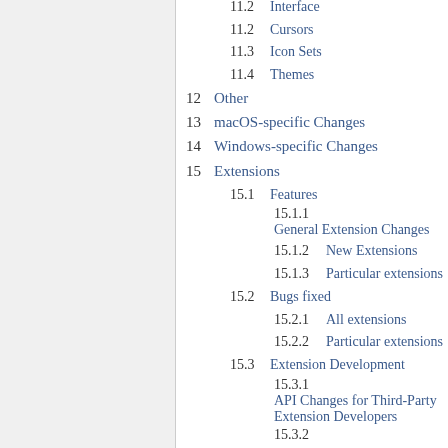11.2  Interface
11.2  Cursors
11.3  Icon Sets
11.4  Themes
12  Other
13  macOS-specific Changes
14  Windows-specific Changes
15  Extensions
15.1  Features
15.1.1  General Extension Changes
15.1.2  New Extensions
15.1.3  Particular extensions
15.2  Bugs fixed
15.2.1  All extensions
15.2.2  Particular extensions
15.3  Extension Development
15.3.1  API Changes for Third-Party Extension Developers
15.3.2  Extension Development